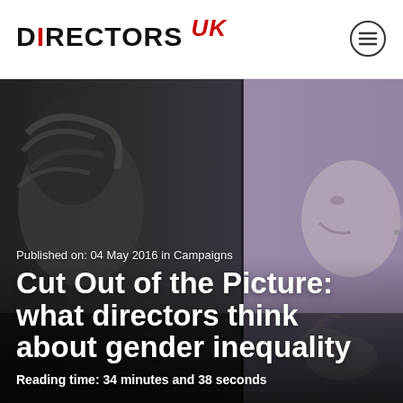DIRECTORS UK
[Figure (photo): Black and white / purple-tinted photo of two people, a woman facing right gesturing with hands in foreground on right, and another person with hair blowing on the left side. The image serves as a hero banner for the article about gender inequality.]
Published on: 04 May 2016 in Campaigns
Cut Out of the Picture: what directors think about gender inequality
Reading time: 34 minutes and 38 seconds